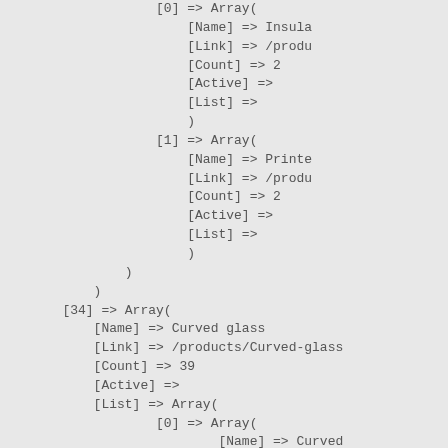[0] => Array(
        [Name] => Insula
        [Link] => /produ
        [Count] => 2
        [Active] =>
        [List] =>
        )
    [1] => Array(
        [Name] => Printe
        [Link] => /produ
        [Count] => 2
        [Active] =>
        [List] =>
        )
)
)
[34] => Array(
    [Name] => Curved glass
    [Link] => /products/Curved-glass
    [Count] => 39
    [Active] =>
    [List] => Array(
        [0] => Array(
            [Name] => Curved